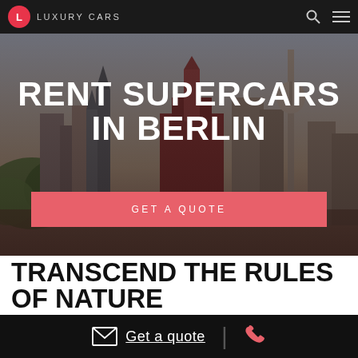LUXURY CARS
[Figure (photo): Hero image of Berlin skyline with city buildings including a cathedral and tower, overlaid with text]
RENT SUPERCARS IN BERLIN
GET A QUOTE
TRANSCEND THE RULES OF NATURE
Get a quote  [phone icon]